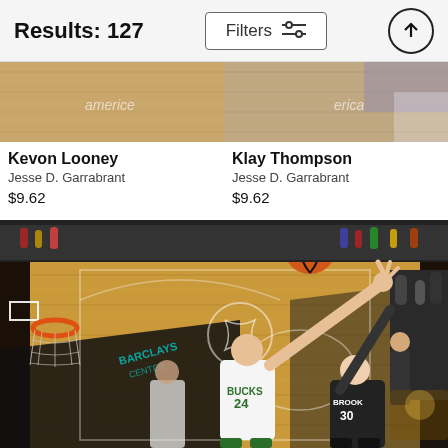Results: 127
Filters
[Figure (photo): Cropped basketball game photo showing court floor with 'americe' watermark text visible, left card]
Kevon Looney
Jesse D. Garrabrant
$9.62
[Figure (photo): Cropped basketball game photo showing court floor with 'erica' watermark text visible, right card]
Klay Thompson
Jesse D. Garrabrant
$9.62
[Figure (photo): NBA basketball game action photo taken from overhead angle at Barclays Center. Milwaukee Bucks player #24 in white jersey reaching up toward basketball near the hoop, with Brooklyn Nets player #30 defending. Orange hoop and net visible on left. Court floor shows Nets logo. Crowd visible in background.]